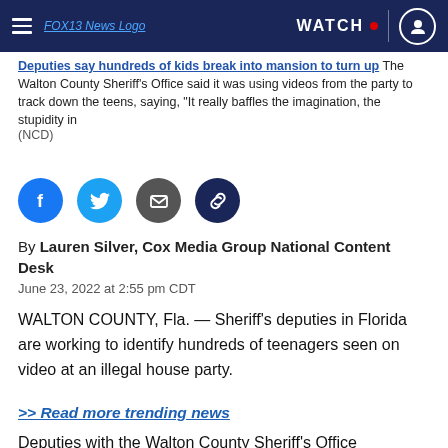FOX13 News Logo | WATCH | profile icon
Deputies say hundreds of kids break into mansion to turn up The Walton County Sheriff's Office said it was using videos from the party to track down the teens, saying, "It really baffles the imagination, the stupidity in
(NCD)
[Figure (infographic): Social sharing icons row: Facebook (blue circle), Twitter (light blue circle), Email (dark grey circle with envelope), Link (dark navy circle with chain link)]
By Lauren Silver, Cox Media Group National Content Desk
June 23, 2022 at 2:55 pm CDT
WALTON COUNTY, Fla. — Sheriff's deputies in Florida are working to identify hundreds of teenagers seen on video at an illegal house party.
>> Read more trending news
Deputies with the Walton County Sheriff's Office